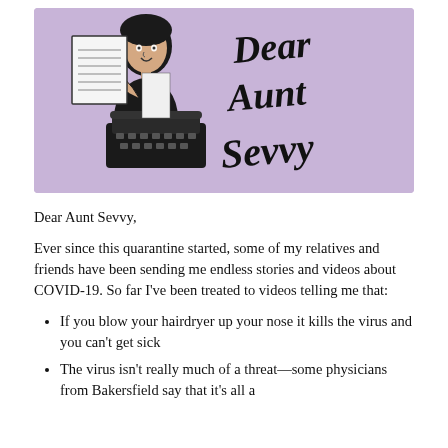[Figure (illustration): Retro illustration of a woman at a typewriter holding a paper, with cursive script reading 'Dear Aunt Sevvy' on a lavender/purple background.]
Dear Aunt Sevvy,
Ever since this quarantine started, some of my relatives and friends have been sending me endless stories and videos about COVID-19. So far I've been treated to videos telling me that:
If you blow your hairdryer up your nose it kills the virus and you can't get sick
The virus isn't really much of a threat—some physicians from Bakersfield say that it's all a